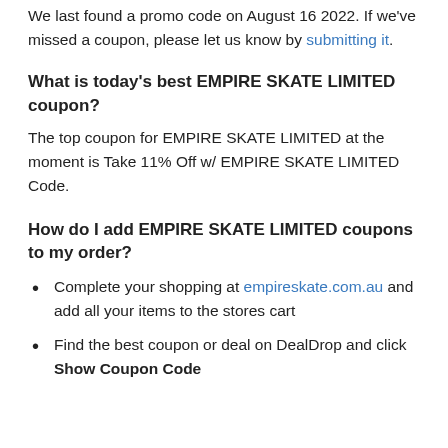We last found a promo code on August 16 2022. If we've missed a coupon, please let us know by submitting it.
What is today's best EMPIRE SKATE LIMITED coupon?
The top coupon for EMPIRE SKATE LIMITED at the moment is Take 11% Off w/ EMPIRE SKATE LIMITED Code.
How do I add EMPIRE SKATE LIMITED coupons to my order?
Complete your shopping at empireskate.com.au and add all your items to the stores cart
Find the best coupon or deal on DealDrop and click Show Coupon Code